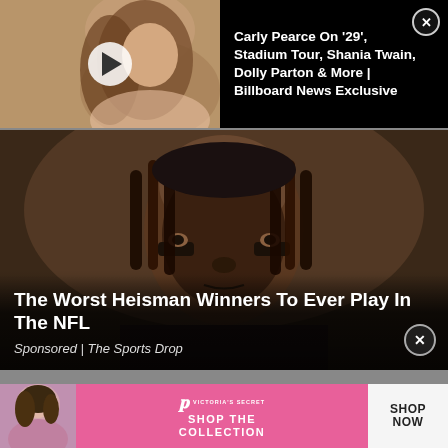[Figure (screenshot): Billboard video thumbnail showing a woman with long hair, with a white play button overlay. Billboard logo in top left corner.]
Carly Pearce On '29', Stadium Tour, Shania Twain, Dolly Parton & More | Billboard News Exclusive
[Figure (photo): Close-up photo of an NFL football player with eye black under his eyes and dreadlocks, wearing dark jersey.]
The Worst Heisman Winners To Ever Play In The NFL
Sponsored | The Sports Drop
[Figure (screenshot): Victoria's Secret advertisement with a woman on the left, pink background in center with VS logo and 'SHOP THE COLLECTION' text, and 'SHOP NOW' button on right.]
SHOP THE COLLECTION
SHOP NOW